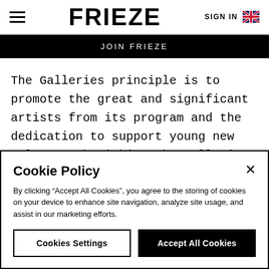FRIEZE | SIGN IN
JOIN FRIEZE
The Galleries principle is to promote the great and significant artists from its program and the dedication to support young new talents, cherishing the galleries global network of artists, curators and collectors.
Cookie Policy
By clicking “Accept All Cookies”, you agree to the storing of cookies on your device to enhance site navigation, analyze site usage, and assist in our marketing efforts.
Cookies Settings | Accept All Cookies